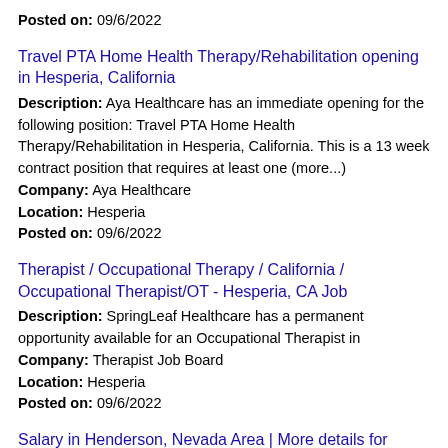Posted on: 09/6/2022
Travel PTA Home Health Therapy/Rehabilitation opening in Hesperia, California
Description: Aya Healthcare has an immediate opening for the following position: Travel PTA Home Health Therapy/Rehabilitation in Hesperia, California. This is a 13 week contract position that requires at least one (more...)
Company: Aya Healthcare
Location: Hesperia
Posted on: 09/6/2022
Therapist / Occupational Therapy / California / Occupational Therapist/OT - Hesperia, CA Job
Description: SpringLeaf Healthcare has a permanent opportunity available for an Occupational Therapist in
Company: Therapist Job Board
Location: Hesperia
Posted on: 09/6/2022
Salary in Henderson, Nevada Area | More details for Henderson, Nevada Jobs |Salary
FT Customer Experience Representative (Work From